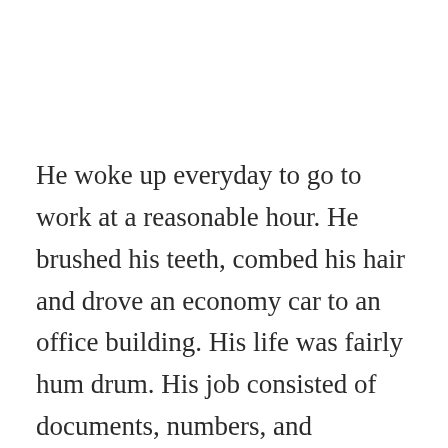He woke up everyday to go to work at a reasonable hour. He brushed his teeth, combed his hair and drove an economy car to an office building. His life was fairly hum drum. His job consisted of documents, numbers, and Microsoft Publisher. The pay was enough to afford a small unit on the third floor of an apartment complex. The buildings of which were situated around a green area that surrounded a pond. There was a fountain that would go off in the summer. In the winter the pond would freeze over and the